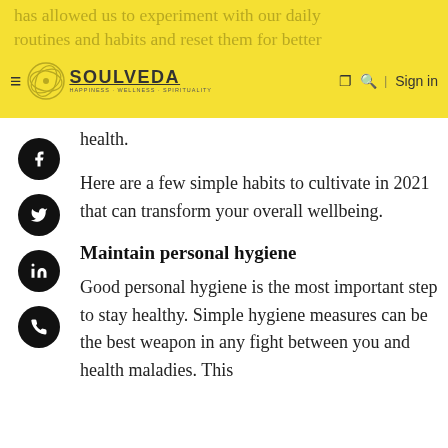has allowed us to experiment with our daily routines and habits and reset them for better health.
[Figure (logo): Soulveda logo with hamburger menu, search icon, and Sign in link on yellow header bar]
has allowed us to experiment with our daily routines and habits and reset them for better health.
Here are a few simple habits to cultivate in 2021 that can transform your overall wellbeing.
Maintain personal hygiene
Good personal hygiene is the most important step to stay healthy. Simple hygiene measures can be the best weapon in any fight between you and health maladies. This